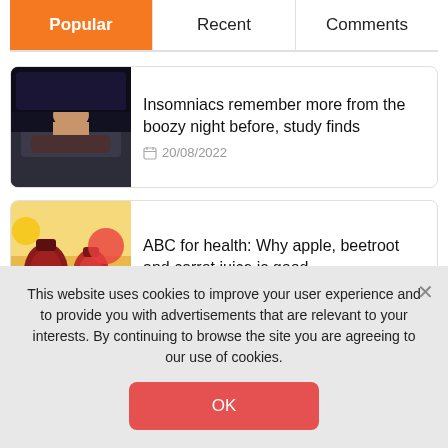Popular | Recent | Comments
[Figure (screenshot): Article thumbnail: person lying in bed at night]
Insomniacs remember more from the boozy night before, study finds
20/08/2022
[Figure (photo): Article thumbnail: red/purple smoothie drinks with fruits]
ABC for health: Why apple, beetroot and carrot juice is good
This website uses cookies to improve your user experience and to provide you with advertisements that are relevant to your interests. By continuing to browse the site you are agreeing to our use of cookies.